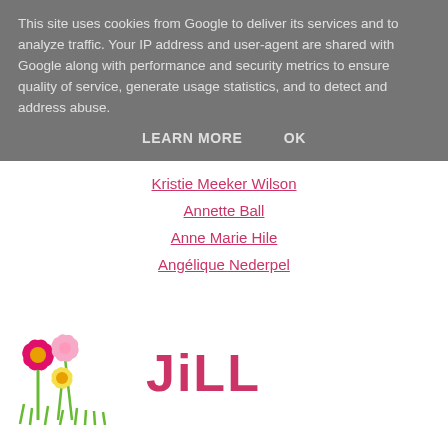This site uses cookies from Google to deliver its services and to analyze traffic. Your IP address and user-agent are shared with Google along with performance and security metrics to ensure quality of service, generate usage statistics, and to detect and address abuse.
LEARN MORE   OK
Kristie Meeker Wilson
Annette Ball
Anne Marie Hile
Angélique Nederpel
[Figure (illustration): Colorful spring flowers illustration with pink, magenta, and yellow flowers with green stems and grass, next to the name 'JiLL' written in large pink cursive-style text]